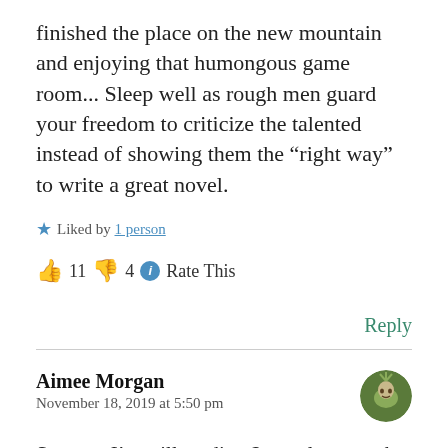finished the place on the new mountain and enjoying that humongous game room... Sleep well as rough men guard your freedom to criticize the talented instead of showing them the “right way” to write a great novel.
★ Liked by 1 person
👍 11 👎 4 ⓘ Rate This
Reply
Aimee Morgan
November 18, 2019 at 5:50 pm
Strange, I’m still reading 2 novels a month, plus